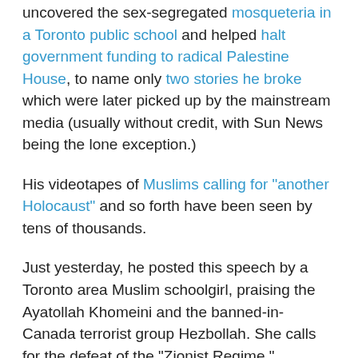uncovered the sex-segregated mosqueteria in a Toronto public school and helped halt government funding to radical Palestine House, to name only two stories he broke which were later picked up by the mainstream media (usually without credit, with Sun News being the lone exception.)
His videotapes of Muslims calling for “another Holocaust” and so forth have been seen by tens of thousands.
Just yesterday, he posted this speech by a Toronto area Muslim schoolgirl, praising the Ayatollah Khomeini and the banned-in-Canada terrorist group Hezbollah. She calls for the defeat of the “Zionist Regime.”